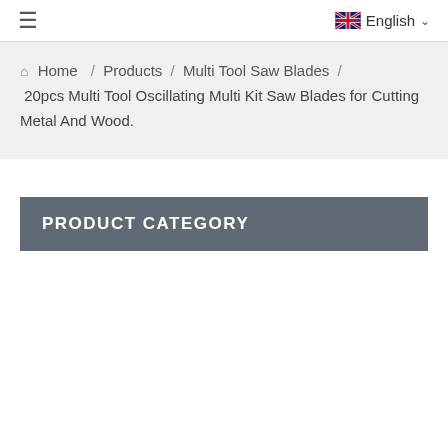≡   English ∨
🏢 Home / Products / Multi Tool Saw Blades / 20pcs Multi Tool Oscillating Multi Kit Saw Blades for Cutting Metal And Wood.
PRODUCT CATEGORY